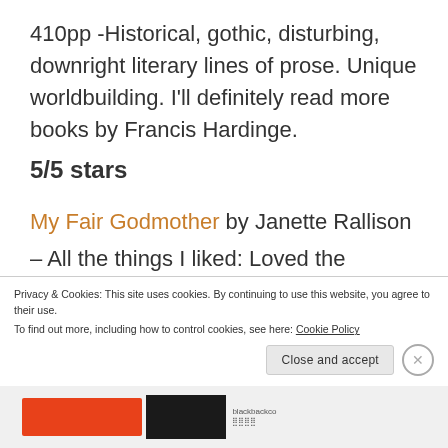410pp -Historical, gothic, disturbing, downright literary lines of prose. Unique worldbuilding. I'll definitely read more books by Francis Hardinge.
5/5 stars
My Fair Godmother by Janette Rallison – All the things I liked: Loved the
Privacy & Cookies: This site uses cookies. By continuing to use this website, you agree to their use.
To find out more, including how to control cookies, see here: Cookie Policy